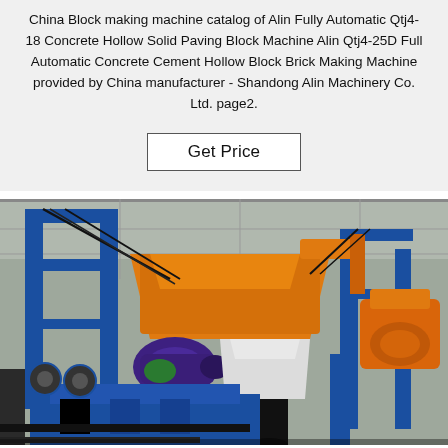China Block making machine catalog of Alin Fully Automatic Qtj4-18 Concrete Hollow Solid Paving Block Machine Alin Qtj4-25D Full Automatic Concrete Cement Hollow Block Brick Making Machine provided by China manufacturer - Shandong Alin Machinery Co. Ltd. page2.
Get Price
[Figure (photo): Photo of a large blue and orange concrete block making machine in an industrial factory setting. The machine has blue structural frames, an orange feeder/mixer unit, a purple/dark blue electric motor, and a black cylindrical column in the foreground.]